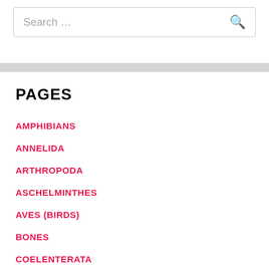Search ...
PAGES
AMPHIBIANS
ANNELIDA
ARTHROPODA
ASCHELMINTHES
AVES (BIRDS)
BONES
COELENTERATA
COMPARATIVE ANATOMY OF VERTEBRATES